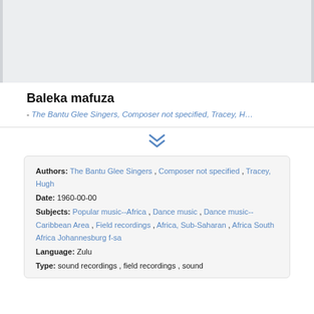[Figure (other): Gray placeholder image area at top of page]
Baleka mafuza
- The Bantu Glee Singers, Composer not specified, Tracey, H…
❯❯ (chevron/expand icon)
Authors: The Bantu Glee Singers , Composer not specified , Tracey, Hugh
Date: 1960-00-00
Subjects: Popular music--Africa , Dance music , Dance music--Caribbean Area , Field recordings , Africa, Sub-Saharan , Africa South Africa Johannesburg f-sa
Language: Zulu
Type: sound recordings , field recordings , sound